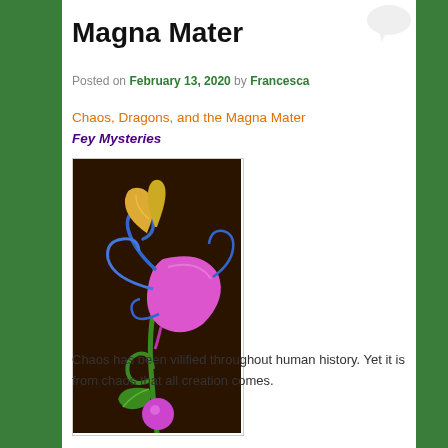Magna Mater
Posted on February 13, 2020 by Francesca
Chaos, Dragons, and the Magna Mater
Fey Mysteries
[Figure (illustration): Illustration of a stylized flower/plant on a dark brown background. A pink bell-shaped flower at center, with blue curling tendrils, yellow accents, green stem with leaves, and a small pink/purple orb at the bottom.]
Chaos has been vilified throughout human history. Yet it is from chaos that all creation comes.